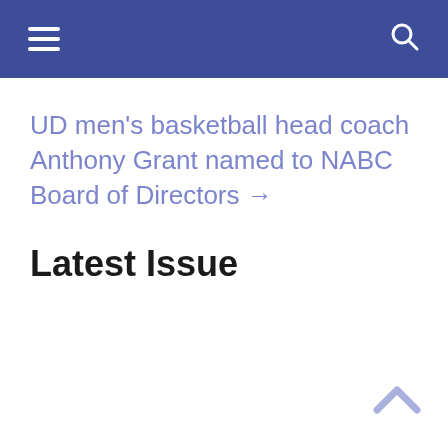≡  🔍
UD men's basketball head coach Anthony Grant named to NABC Board of Directors →
Latest Issue